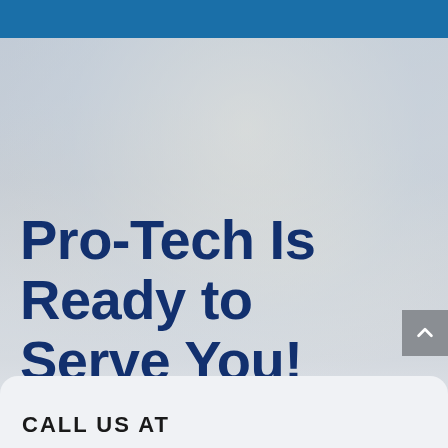[Figure (photo): Background photo showing a person (blurred/faded) working in what appears to be a technical or medical environment, heavily faded with a light gray-blue overlay.]
Pro-Tech Is Ready to Serve You!
CALL US AT